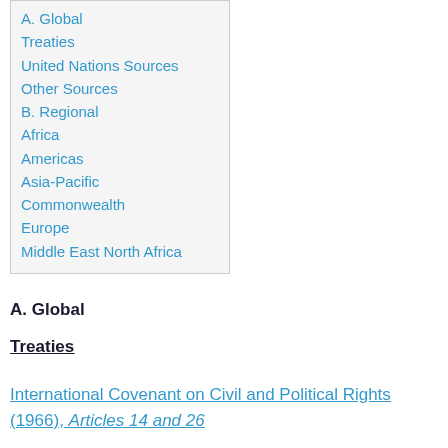A. Global
Treaties
United Nations Sources
Other Sources
B. Regional
Africa
Americas
Asia-Pacific
Commonwealth
Europe
Middle East North Africa
A. Global
Treaties
International Covenant on Civil and Political Rights (1966), Articles 14 and 26